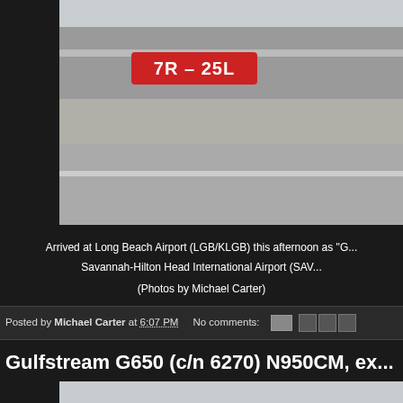[Figure (photo): Airport runway photo showing runway sign '7R - 25L' in red on tarmac at Long Beach Airport]
Arrived at Long Beach Airport (LGB/KLGB) this afternoon as "G... Savannah-Hilton Head International Airport (SAV...
(Photos by Michael Carter)
Posted by Michael Carter at 6:07 PM    No comments:
Gulfstream G650 (c/n 6270) N950CM, ex...
[Figure (photo): Airport apron photo showing two JetBlue aircraft tails with blue livery and 'jetBlue' text visible]